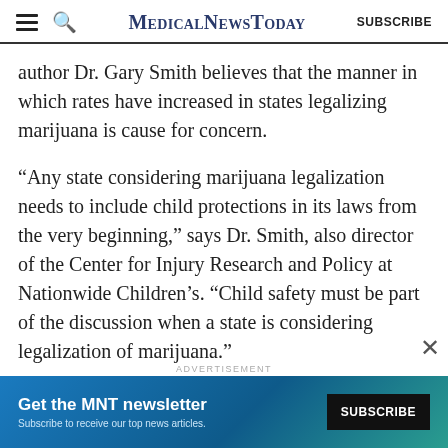MedicalNewsToday SUBSCRIBE
author Dr. Gary Smith believes that the manner in which rates have increased in states legalizing marijuana is cause for concern.
“Any state considering marijuana legalization needs to include child protections in its laws from the very beginning,” says Dr. Smith, also director of the Center for Injury Research and Policy at Nationwide Children’s. “Child safety must be part of the discussion when a state is considering legalization of marijuana.”
The researchers recommend that measures used to protect children from medicines and dangerous
ADVERTISEMENT
[Figure (other): MNT newsletter advertisement banner with subscribe button. Text: Get the MNT newsletter. Subscribe to receive our top news articles. SUBSCRIBE button.]